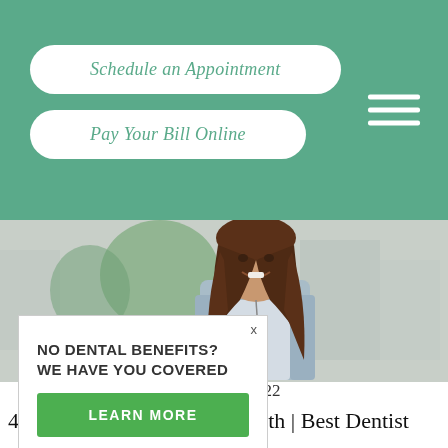Schedule an Appointment
Pay Your Bill Online
[Figure (photo): Young woman with long brown hair smiling outdoors, blurred urban background with greenery]
NO DENTAL BENEFITS?
WE HAVE YOU COVERED

LEARN MORE
August 15, 2022
4 Tips for Healthy, White Teeth | Best Dentist